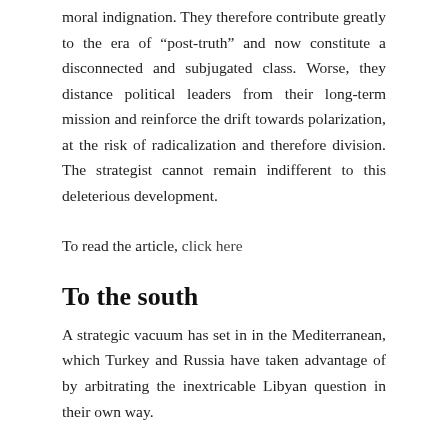moral indignation. They therefore contribute greatly to the era of “post-truth” and now constitute a disconnected and subjugated class. Worse, they distance political leaders from their long-term mission and reinforce the drift towards polarization, at the risk of radicalization and therefore division. The strategist cannot remain indifferent to this deleterious development.
To read the article, click here
To the south
A strategic vacuum has set in in the Mediterranean, which Turkey and Russia have taken advantage of by arbitrating the inextricable Libyan question in their own way.